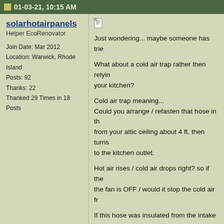01-03-21, 10:15 AM
solarhotairpanels
Helper EcoRenovator

Join Date: Mar 2012
Location: Warwick, Rhode Island
Posts: 92
Thanks: 22
Thanked 29 Times in 18 Posts
Just wondering... maybe someone has tried...

What about a cold air trap rather then relying... your kitchen?

Cold air trap meaning...
Could you arrange / refasten that hose in the... from your attic ceiling about 4 ft. then turns... to the kitchen outlet.

Hot air rises / cold air drops right? so if the... the fan is OFF / would it stop the cold air fr...

If this hose was insulated from the intake e... think that might work pretty good to stop co...

just some thoughts

Pat from Warwick, RI

Please Note:
Comments and/or suggestions I make here... and scientifically calculated by 'the seat of a...
To view links or images in signatures your post cour...